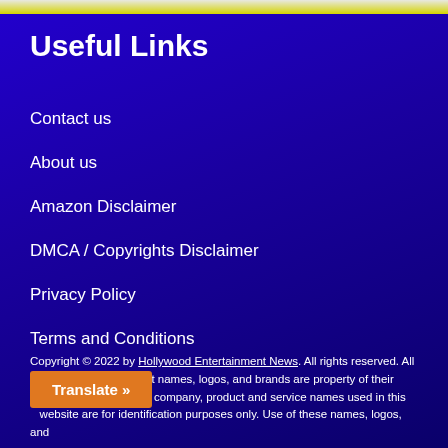Useful Links
Contact us
About us
Amazon Disclaimer
DMCA / Copyrights Disclaimer
Privacy Policy
Terms and Conditions
Copyright © 2022 by Hollywood Entertainment News. All rights reserved. All articles, images, product names, logos, and brands are property of their respective owners. All company, product and service names used in this website are for identification purposes only. Use of these names, logos, and